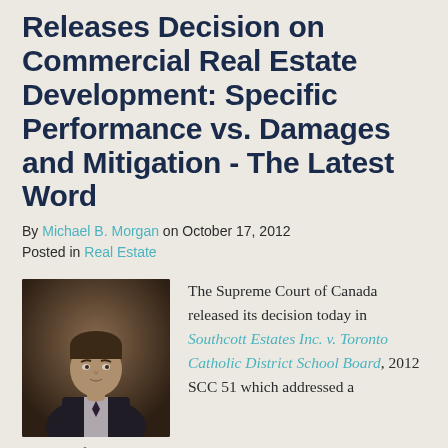Releases Decision on Commercial Real Estate Development: Specific Performance vs. Damages and Mitigation - The Latest Word
By Michael B. Morgan on October 17, 2012
Posted in Real Estate
[Figure (photo): Professional headshot of Michael B. Morgan, a man in a dark suit and tie]
The Supreme Court of Canada released its decision today in Southcott Estates Inc. v. Toronto Catholic District School Board, 2012 SCC 51 which addressed a number of thorny issues relevant to